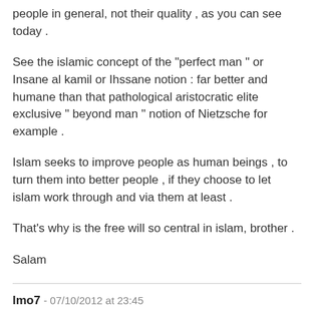people in general, not their quality , as you can see today .
See the islamic concept of the "perfect man " or Insane al kamil or Ihssane notion : far better and humane than that pathological aristocratic elite exclusive " beyond man " notion of Nietzsche for example .
Islam seeks to improve people as human beings , to turn them into better people , if they choose to let islam work through and via them at least .
That's why is the free will so central in islam, brother .
Salam
lmo7 - 07/10/2012 at 23:45
When Muslim terrorists throw bombs at crowds the say " Allah Ali Akbar" is it an act of God. All the world problems